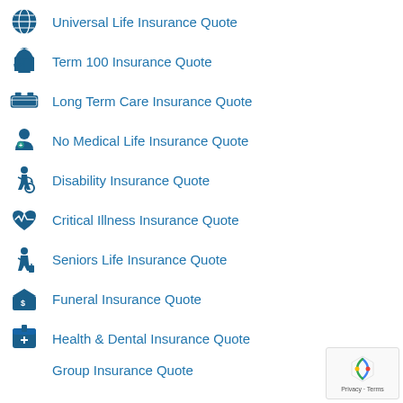Universal Life Insurance Quote
Term 100 Insurance Quote
Long Term Care Insurance Quote
No Medical Life Insurance Quote
Disability Insurance Quote
Critical Illness Insurance Quote
Seniors Life Insurance Quote
Funeral Insurance Quote
Health & Dental Insurance Quote
Group Insurance Quote